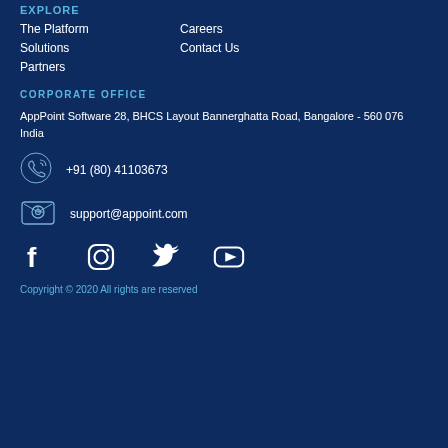EXPLORE
The Platform
Solutions
Partners
Careers
Contact Us
CORPORATE OFFICE
AppPoint Software 28, BHCS Layout Bannerghatta Road, Bangalore - 560 076 India
+91 (80) 41103673
support@appoint.com
[Figure (infographic): Social media icons: Facebook, Instagram, Twitter, YouTube]
Copyright © 2020 All rights are reserved